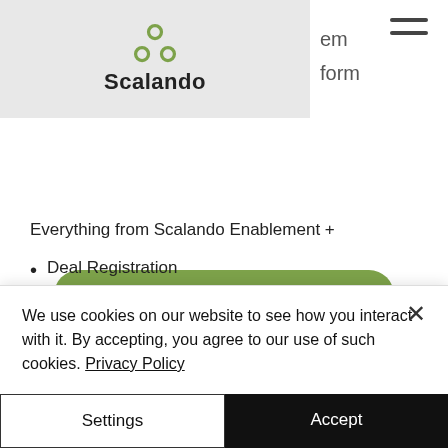Scalando
Request Quote
Everything from Scalando Enablement +
Deal Registration
Promote Partner Deal Reg
Customer Wins
Capture customer wins
Build and share customer wins library
Promo & Incentive Management
We use cookies on our website to see how you interact with it. By accepting, you agree to our use of such cookies. Privacy Policy